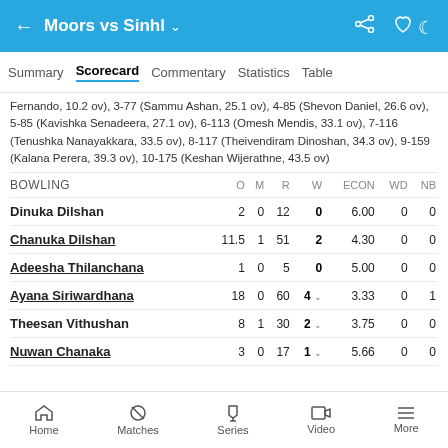Moors vs Sinhl
Fernando, 10.2 ov), 3-77 (Sammu Ashan, 25.1 ov), 4-85 (Shevon Daniel, 26.6 ov), 5-85 (Kavishka Senadeera, 27.1 ov), 6-113 (Omesh Mendis, 33.1 ov), 7-116 (Tenushka Nanayakkara, 33.5 ov), 8-117 (Theivendiram Dinoshan, 34.3 ov), 9-159 (Kalana Perera, 39.3 ov), 10-175 (Keshan Wijerathne, 43.5 ov)
| BOWLING | O | M | R | W | ECON | WD | NB |
| --- | --- | --- | --- | --- | --- | --- | --- |
| Dinuka Dilshan | 2 | 0 | 12 | 0 | 6.00 | 0 | 0 |
| Chanuka Dilshan | 11.5 | 1 | 51 | 2 | 4.30 | 0 | 0 |
| Adeesha Thilanchana | 1 | 0 | 5 | 0 | 5.00 | 0 | 0 |
| Ayana Siriwardhana | 18 | 0 | 60 | 4 | 3.33 | 0 | 1 |
| Theesan Vithushan | 8 | 1 | 30 | 2 | 3.75 | 0 | 0 |
| Nuwan Chanaka | 3 | 0 | 17 | 1 | 5.66 | 0 | 0 |
Home  Matches  Series  Video  More